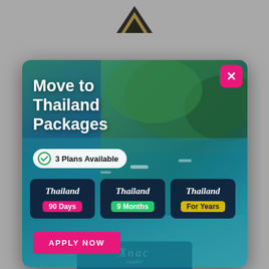[Figure (logo): Partially visible logo at top center with black and gold triangular/chevron shapes]
[Figure (screenshot): Modal popup advertisement for 'Move to Thailand Packages' showing tropical beach background with green islands and turquoise water. Contains a close (X) button in pink, title 'Move to Thailand Packages', a '3 Plans Available' badge, three plan cards (Thailand 90 Days / pink, Thailand 9 Months / green, Thailand For Years / yellow), and an 'APPLY NOW' button in pink.]
[Figure (logo): Partial view of a blue panel below the modal showing a stylized script logo and the word 'Business']